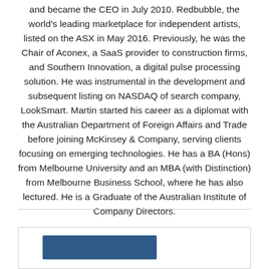and became the CEO in July 2010. Redbubble, the world's leading marketplace for independent artists, listed on the ASX in May 2016. Previously, he was the Chair of Aconex, a SaaS provider to construction firms, and Southern Innovation, a digital pulse processing solution. He was instrumental in the development and subsequent listing on NASDAQ of search company, LookSmart. Martin started his career as a diplomat with the Australian Department of Foreign Affairs and Trade before joining McKinsey & Company, serving clients focusing on emerging technologies. He has a BA (Hons) from Melbourne University and an MBA (with Distinction) from Melbourne Business School, where he has also lectured. He is a Graduate of the Australian Institute of Company Directors.